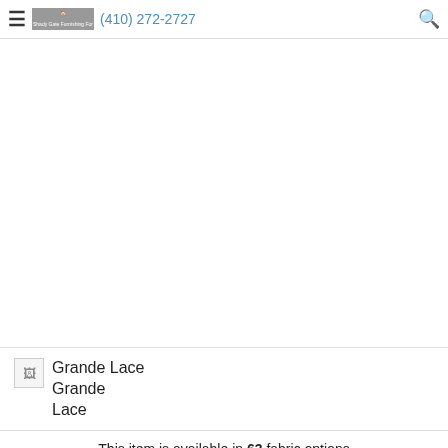(410) 272-2727
[Figure (photo): Large white/blank product image area]
Grande Lace
This item is available in 63 fabric options